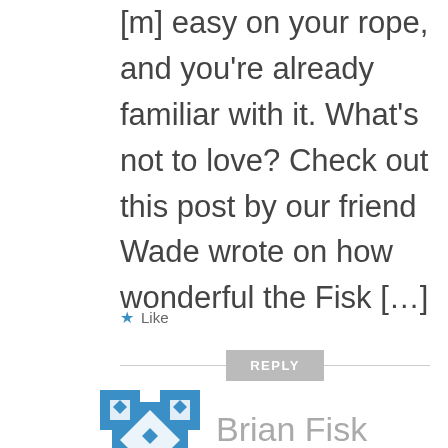[...] easy on your rope, and you're already familiar with it. What's not to love? Check out this post by our friend Wade wrote on how wonderful the Fisk [...]
★ Like
REPLY
Brian Fisk
OCTOBER 11, 2018